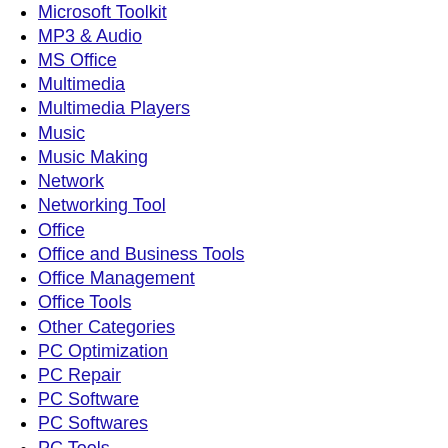Microsoft Toolkit
MP3 & Audio
MS Office
Multimedia
Multimedia Players
Music
Music Making
Network
Networking Tool
Office
Office and Business Tools
Office Management
Office Tools
Other Categories
PC Optimization
PC Repair
PC Software
PC Softwares
PC Tools
Pdf Editor
Performance Optimizing Tools
Presentation
Programming IDE
Recovery software
screen recording